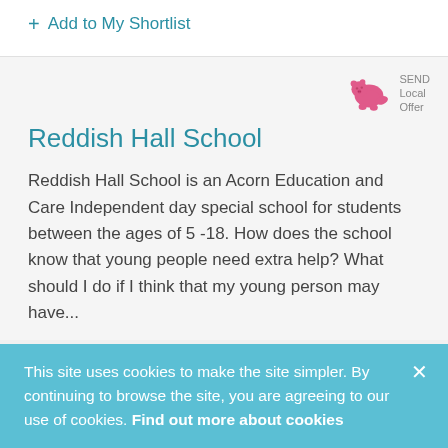+ Add to My Shortlist
[Figure (logo): Pink bear/animal logo with SEND Local Offer text]
Reddish Hall School
Reddish Hall School is an Acorn Education and Care Independent day special school for students between the ages of 5 -18. How does the school know that young people need extra help? What should I do if I think that my young person may have...
This site uses cookies to make the site simpler. By continuing to browse the site, you are agreeing to our use of cookies. Find out more about cookies